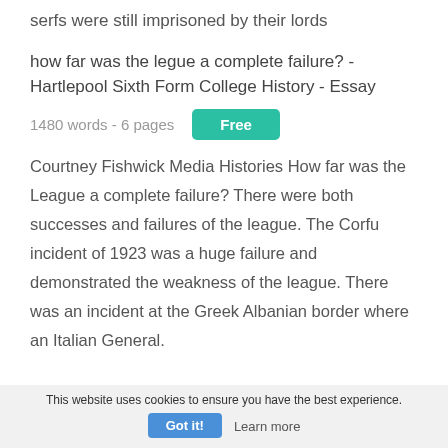serfs were still imprisoned by their lords
how far was the legue a complete failure? - Hartlepool Sixth Form College History - Essay
1480 words - 6 pages
Free
Courtney Fishwick Media Histories How far was the League a complete failure? There were both successes and failures of the league. The Corfu incident of 1923 was a huge failure and demonstrated the weakness of the league. There was an incident at the Greek Albanian border where an Italian General.
This website uses cookies to ensure you have the best experience.
Got it!
Learn more